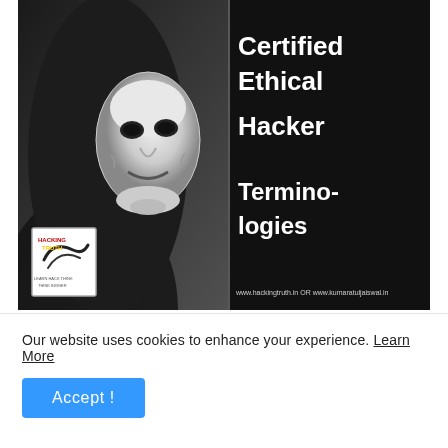[Figure (illustration): Book cover split into two panels. Left panel: black and white photo of a person wearing a Guy Fawkes/Anonymous white mask, dark background. Bottom-left corner has a small white logo box with 'HACKING TRUTH' branding. Right panel: dark/black background with large white bold text reading 'Certified Ethical Hacker Terminologies' and small text at bottom 'www.hackingtruth.in OR www.kumaratuljaiswal.in'.]
CEH v10 Certified Ethical Hacking Terminologies
Our website uses cookies to enhance your experience. Learn More
Accept !